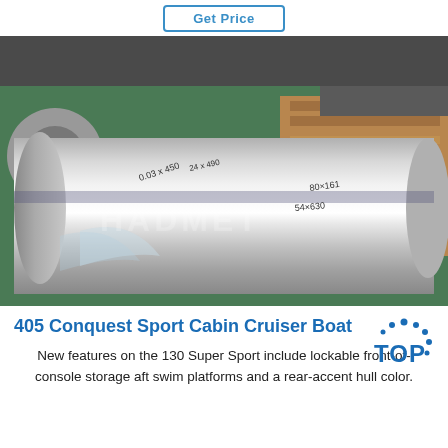Get Price
[Figure (photo): Large rolls of shiny aluminum foil/coil stacked on pallets in a warehouse. Handwritten labels visible on the rolls. HADMET watermark visible. Background shows wooden pallets and a green floor.]
405 Conquest Sport Cabin Cruiser Boat
New features on the 130 Super Sport include lockable front-of-console storage aft swim platforms and a rear-accent hull color.